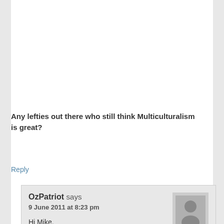Any lefties out there who still think Multiculturalism is great?
Reply
OzPatriot says
9 June 2011 at 8:23 pm
Hi Mike,
Yes, i've seen this...disgusting!!